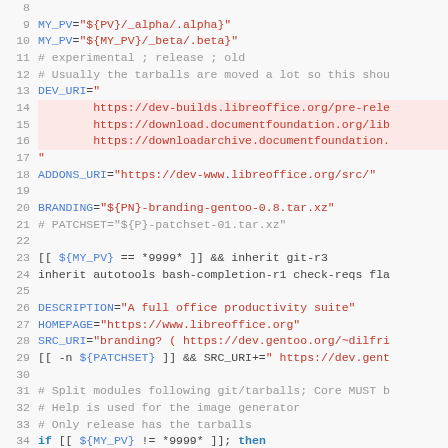[Figure (screenshot): Source code listing showing a shell/ebuild script with line numbers 8-37, featuring variable assignments, URLs for LibreOffice downloads, inherit statements, and conditional logic in monospace font with syntax highlighting (blue for variable names, orange/red for string values, gray for comments, bold blue for keywords).]